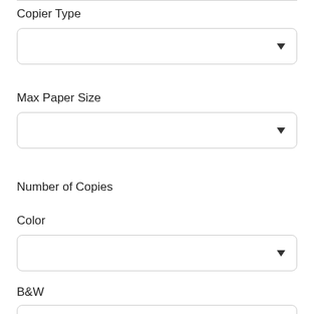Copier Type
[Figure (screenshot): Dropdown select field for Copier Type, empty with downward arrow]
Max Paper Size
[Figure (screenshot): Dropdown select field for Max Paper Size, empty with downward arrow]
Number of Copies
Color
[Figure (screenshot): Dropdown select field for Color, empty with downward arrow]
B&W
[Figure (screenshot): Dropdown select field for B&W, empty with downward arrow (partially visible)]